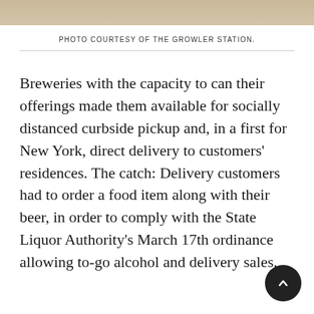[Figure (photo): Partial photo strip at top of page showing a wooden surface, cropped]
PHOTO COURTESY OF THE GROWLER STATION.
Breweries with the capacity to can their offerings made them available for socially distanced curbside pickup and, in a first for New York, direct delivery to customers' residences. The catch: Delivery customers had to order a food item along with their beer, in order to comply with the State Liquor Authority's March 17th ordinance allowing to-go alcohol and delivery sales.